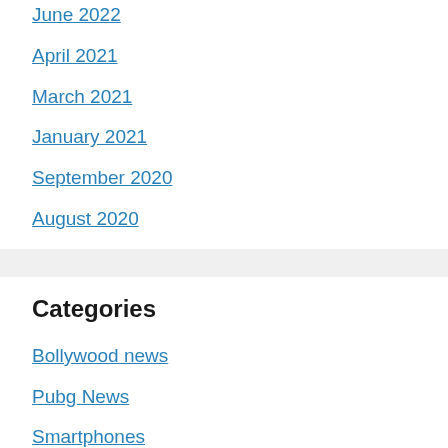June 2022
April 2021
March 2021
January 2021
September 2020
August 2020
Categories
Bollywood news
Pubg News
Smartphones
Tech news